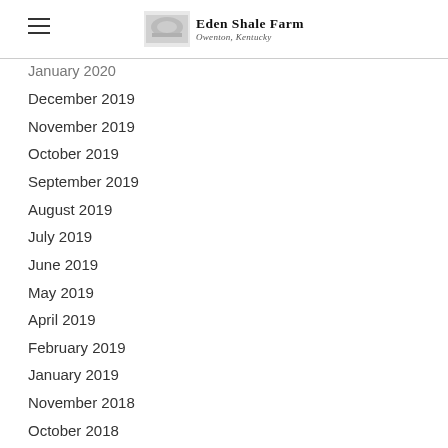Eden Shale Farm — Owenton, Kentucky
January 2020
December 2019
November 2019
October 2019
September 2019
August 2019
July 2019
June 2019
May 2019
April 2019
February 2019
January 2019
November 2018
October 2018
September 2018
August 2018
July 2018
June 2018